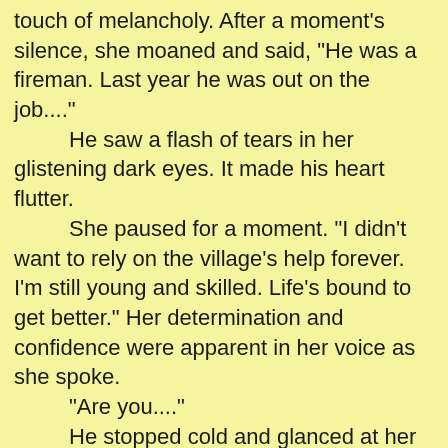touch of melancholy. After a moment's silence, she moaned and said, "He was a fireman. Last year he was out on the job...." He saw a flash of tears in her glistening dark eyes. It made his heart flutter. She paused for a moment. "I didn't want to rely on the village's help forever. I'm still young and skilled. Life's bound to get better." Her determination and confidence were apparent in her voice as she spoke. "Are you...." He stopped cold and glanced at her with admiration, quite pleased with her. She lowered her eyes shyly. He stood guard every day, as he had before. She repaired shoes every day, as she had before. He kept his eyes level, looking off into the distance. But as the time grew longer, he couldn't help turning his